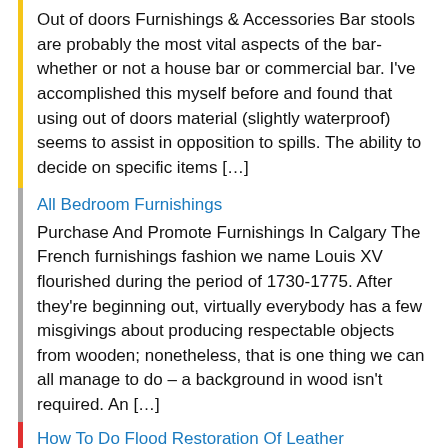Out of doors Furnishings & Accessories Bar stools are probably the most vital aspects of the bar- whether or not a house bar or commercial bar. I've accomplished this myself before and found that using out of doors material (slightly waterproof) seems to assist in opposition to spills. The ability to decide on specific items […]
All Bedroom Furnishings
Purchase And Promote Furnishings In Calgary The French furnishings fashion we name Louis XV flourished during the period of 1730-1775. After they're beginning out, virtually everybody has a few misgivings about producing respectable objects from wooden; nonetheless, that is one thing we can all manage to do – a background in wood isn't required. An […]
How To Do Flood Restoration Of Leather Furnishings